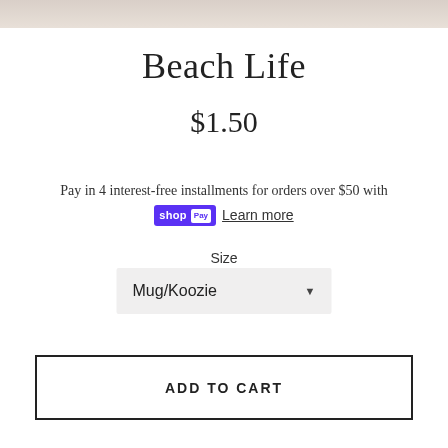[Figure (photo): Partial product image strip at the top of the page, showing a cropped beige/cream colored background]
Beach Life
$1.50
Pay in 4 interest-free installments for orders over $50 with shop Pay Learn more
Size
Mug/Koozie
ADD TO CART